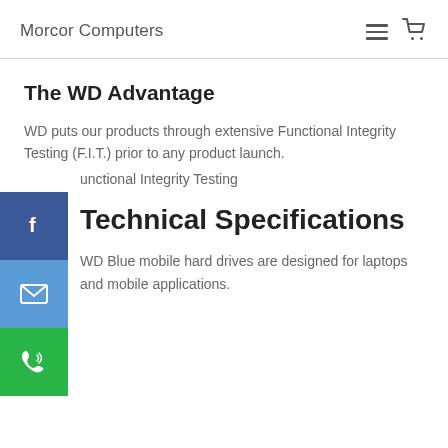Morcor Computers
The WD Advantage
WD puts our products through extensive Functional Integrity Testing (F.I.T.) prior to any product launch.
unctional Integrity Testing
Technical Specifications
WD Blue mobile hard drives are designed for laptops and mobile applications.